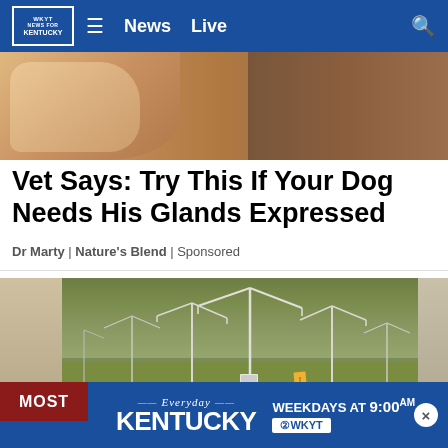News  Live
[Figure (photo): Close-up photo of a dog being handled, warm tan/brown tones]
Vet Says: Try This If Your Dog Needs His Glands Expressed
Dr Marty | Nature's Blend | Sponsored
[Figure (photo): Traffic camera view of a highway interchange with light poles and trees in background]
Everyday KENTUCKY   WEEKDAYS AT 9:00AM   WKYT